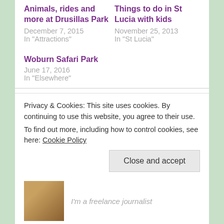Animals, rides and more at Drusillas Park
December 7, 2015
In "Attractions"
Things to do in St Lucia with kids
November 25, 2013
In "St Lucia"
Woburn Safari Park
June 17, 2016
In "Elsewhere"
Categories: Bali, Luxury, Room reports
Tags: Fairmont Hotel, Fairmont Sanur Beach Bali
Privacy & Cookies: This site uses cookies. By continuing to use this website, you agree to their use.
To find out more, including how to control cookies, see here: Cookie Policy
Close and accept
I'm a freelance journalist